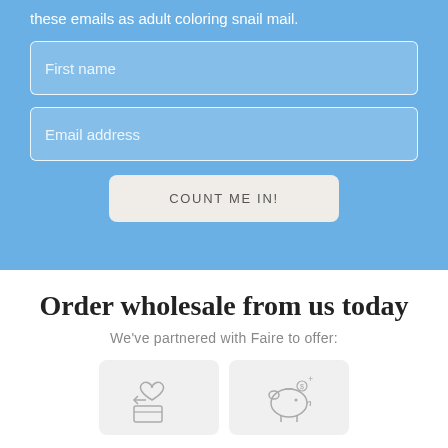these emails as adult coloring snail mail.
First name
Email address
COUNT ME IN!
Order wholesale from us today
We've partnered with Faire to offer:
[Figure (illustration): Two icon boxes side by side: left shows a return/package icon with a heart, right shows a piggy bank icon with coins.]